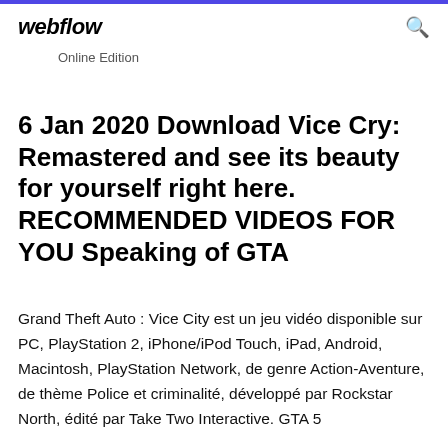webflow  Online Edition
6 Jan 2020 Download Vice Cry: Remastered and see its beauty for yourself right here. RECOMMENDED VIDEOS FOR YOU Speaking of GTA
Grand Theft Auto : Vice City est un jeu vidéo disponible sur PC, PlayStation 2, iPhone/iPod Touch, iPad, Android, Macintosh, PlayStation Network, de genre Action-Aventure, de thème Police et criminalité, développé par Rockstar North, édité par Take Two Interactive. GTA 5